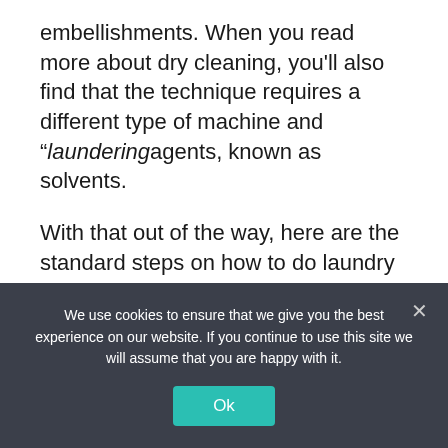embellishments. When you read more about dry cleaning, you'll also find that the technique requires a different type of machine and "laundering agents, known as solvents.
With that out of the way, here are the standard steps on how to do laundry using a washing machine:
1. The Preparation Stage
beginning text partially visible...
We use cookies to ensure that we give you the best experience on our website. If you continue to use this site we will assume that you are happy with it.